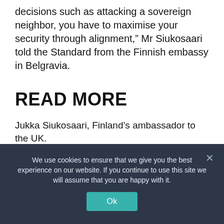decisions such as attacking a sovereign neighbor, you have to maximise your security through alignment,” Mr Siukosaari told the Standard from the Finnish embassy in Belgravia.
READ MORE
Jukka Siukosaari, Finland’s ambassador to the UK.
/ Embassy of Finland
We use cookies to ensure that we give you the best experience on our website. If you continue to use this site we will assume that you are happy with it.